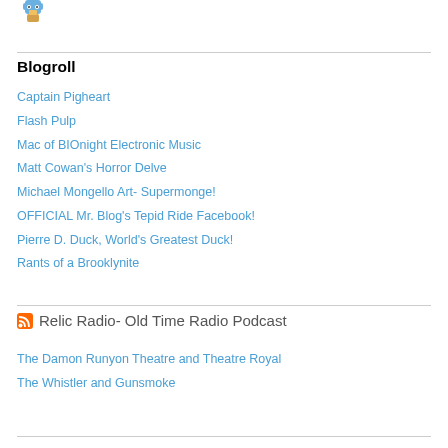[Figure (logo): Small pixel art logo/mascot image]
Blogroll
Captain Pigheart
Flash Pulp
Mac of BIOnight Electronic Music
Matt Cowan's Horror Delve
Michael Mongello Art- Supermonge!
OFFICIAL Mr. Blog's Tepid Ride Facebook!
Pierre D. Duck, World's Greatest Duck!
Rants of a Brooklynite
Relic Radio- Old Time Radio Podcast
The Damon Runyon Theatre and Theatre Royal
The Whistler and Gunsmoke